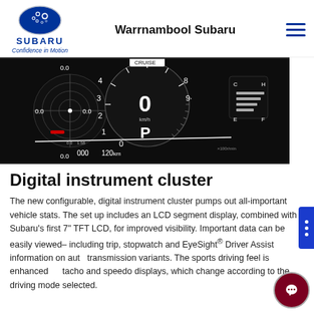Warrnambool Subaru
[Figure (photo): Digital instrument cluster of a Subaru vehicle showing speedometer, tachometer, and LCD displays in dark theme]
Digital instrument cluster
The new configurable, digital instrument cluster pumps out all-important vehicle stats. The set up includes an LCD segment display, combined with Subaru's first 7" TFT LCD, for improved visibility. Important data can be easily viewed– including trip, stopwatch and EyeSight® Driver Assist information on automatic transmission variants. The sports driving feel is enhanced by tacho and speedo displays, which change according to the driving mode selected.